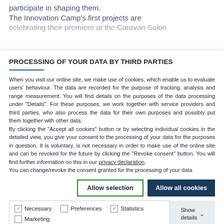participate in shaping them.
The Innovation Camp's first projects are celebrating their premiere at the Caravan Salon
PROCESSING OF YOUR DATA BY THIRD PARTIES
When you visit our online site, we make use of cookies, which enable us to evaluate users' behaviour. The data are recorded for the purpose of tracking, analysis and range measurement. You will find details on the purposes of the data processing under "Details". For these purposes, we work together with service providers and third parties, who also process the data for their own purposes and possibly put them together with other data.
By clicking the "Accept all cookies" button or by selecting individual cookies in the detailed view, you give your consent to the processing of your data for the purposes in question. It is voluntary, is not necessary in order to make use of the online site and can be revoked for the future by clicking the "Revoke consent" button. You will find further information on this in our privacy declaration.
You can change/revoke the consent granted for the processing of your data